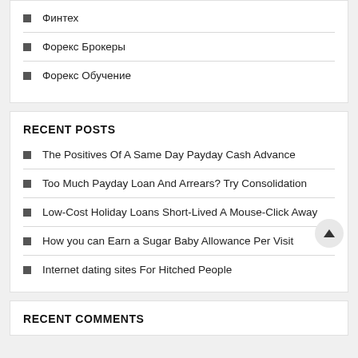Финтех
Форекс Брокеры
Форекс Обучение
RECENT POSTS
The Positives Of A Same Day Payday Cash Advance
Too Much Payday Loan And Arrears?  Try Consolidation
Low-Cost Holiday Loans Short-Lived A Mouse-Click Away
How you can Earn a Sugar Baby Allowance Per Visit
Internet dating sites For Hitched People
RECENT COMMENTS